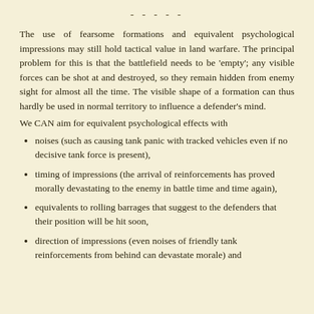- - - - -
The use of fearsome formations and equivalent psychological impressions may still hold tactical value in land warfare. The principal problem for this is that the battlefield needs to be 'empty'; any visible forces can be shot at and destroyed, so they remain hidden from enemy sight for almost all the time. The visible shape of a formation can thus hardly be used in normal territory to influence a defender's mind.
We CAN aim for equivalent psychological effects with
noises (such as causing tank panic with tracked vehicles even if no decisive tank force is present),
timing of impressions (the arrival of reinforcements has proved morally devastating to the enemy in battle time and time again),
equivalents to rolling barrages that suggest to the defenders that their position will be hit soon,
direction of impressions (even noises of friendly tank reinforcements from behind can devastate morale) and